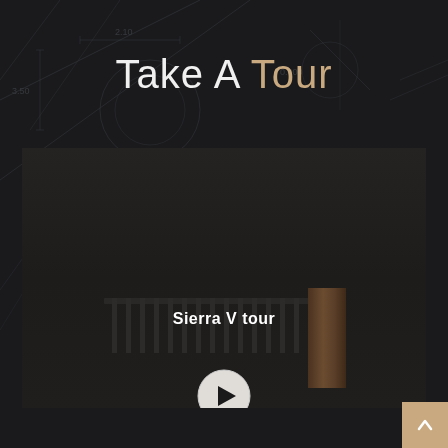Take A Tour
[Figure (screenshot): Virtual tour video thumbnail showing a dark interior with metal railing and wood post visible at bottom. 'Sierra V tour' label overlay in white text, with a circular play button at the bottom center.]
Sierra V tour